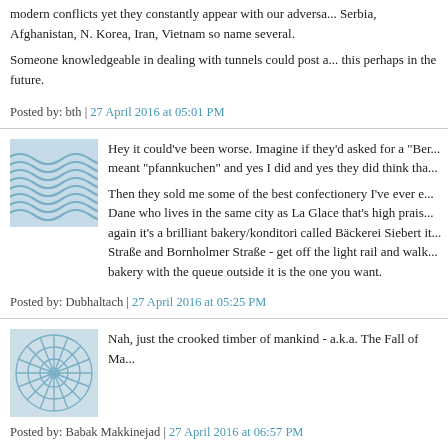modern conflicts yet they constantly appear with our adversa... Serbia, Afghanistan, N. Korea, Iran, Vietnam so name several.
Someone knowledgeable in dealing with tunnels could post a... this perhaps in the future.
Posted by: bth | 27 April 2016 at 05:01 PM
Hey it could've been worse. Imagine if they'd asked for a "Ber... meant "pfannkuchen" and yes I did and yes they did think tha...
Then they sold me some of the best confectionery I've ever e... Dane who lives in the same city as La Glace that's high prais... again it's a brilliant bakery/konditori called Bäckerei Siebert it... Straße and Bornholmer Straße - get off the light rail and walk... bakery with the queue outside it is the one you want.
Posted by: Dubhaltach | 27 April 2016 at 05:25 PM
Nah, just the crooked timber of mankind - a.k.a. The Fall of Ma...
Posted by: Babak Makkinejad | 27 April 2016 at 06:57 PM